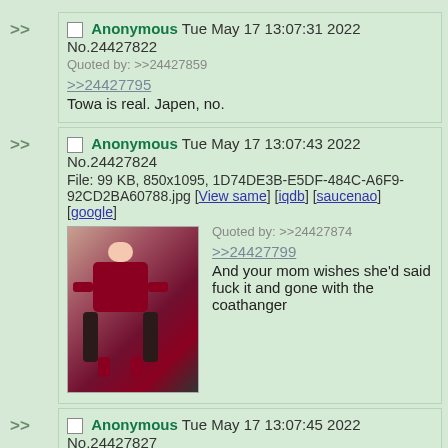Anonymous Tue May 17 13:07:31 2022 No.24427822
Quoted by: >>24427859
>>24427795
Towa is real. Japen, no.
Anonymous Tue May 17 13:07:43 2022 No.24427824
File: 99 KB, 850x1095, 1D74DE3B-E5DF-484C-A6F9-92CD2BA60788.jpg [View same] [iqdb] [saucenao] [google]
Quoted by: >>24427874
>>24427799
And your mom wishes she'd said fuck it and gone with the coathanger
Anonymous Tue May 17 13:07:45 2022 No.24427827
>>24427791
that was a fake hogwarts! created by the illusionist takanashi itachi
Anonymous Tue May 17 13:07:45 2022 No.24427828